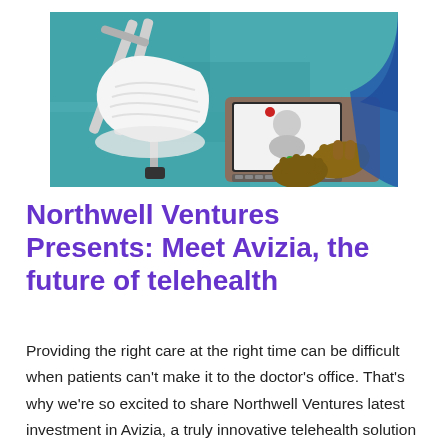[Figure (photo): Overhead view of a person with a leg in a plaster cast and crutches, using a laptop computer on a teal/blue carpet]
Northwell Ventures Presents: Meet Avizia, the future of telehealth
Providing the right care at the right time can be difficult when patients can’t make it to the doctor’s office. That’s why we’re so excited to share Northwell Ventures latest investment in Avizia, a truly innovative telehealth solution provider to aid